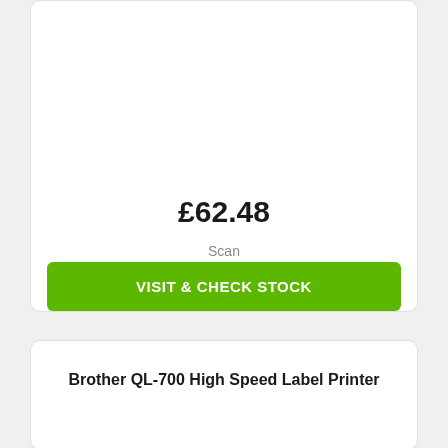£62.48
Scan
VISIT & CHECK STOCK
Brother QL-700 High Speed Label Printer